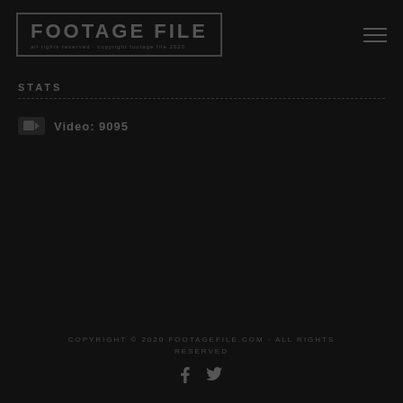FOOTAGE FILE
STATS
Video: 9095
COPYRIGHT © 2020 FOOTAGEFILE.COM · ALL RIGHTS RESERVED